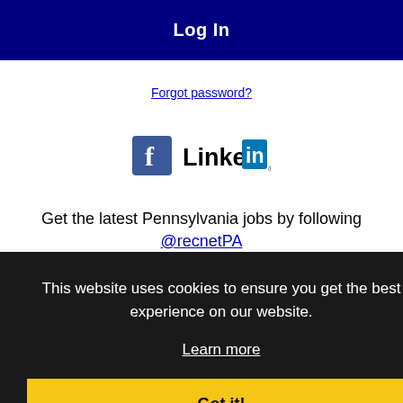Log In
Forgot password?
[Figure (logo): Facebook logo and LinkedIn logo side by side]
Get the latest Pennsylvania jobs by following @recnetPA on Twitter!
Bethlehem RSS job feeds
This website uses cookies to ensure you get the best experience on our website.
Learn more
Got it!
JOB SEEKERS
Search Bethlehem jobs